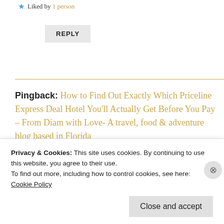★ Liked by 1 person
REPLY
Pingback: How to Find Out Exactly Which Priceline Express Deal Hotel You'll Actually Get Before You Pay – From Diam with Love- A travel, food & adventure blog based in Florida
Privacy & Cookies: This site uses cookies. By continuing to use this website, you agree to their use. To find out more, including how to control cookies, see here: Cookie Policy
Close and accept